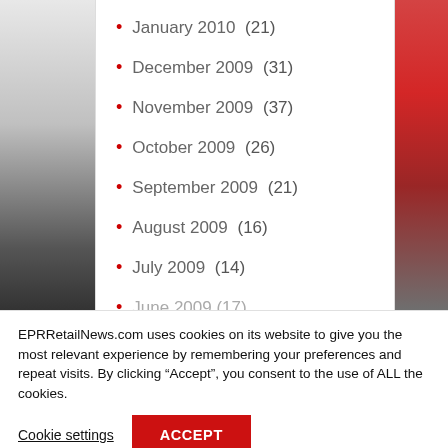January 2010 (21)
December 2009 (31)
November 2009 (37)
October 2009 (26)
September 2009 (21)
August 2009 (16)
July 2009 (14)
June 2009 (17)
EPRRetailNews.com uses cookies on its website to give you the most relevant experience by remembering your preferences and repeat visits. By clicking “Accept”, you consent to the use of ALL the cookies.
Cookie settings
ACCEPT